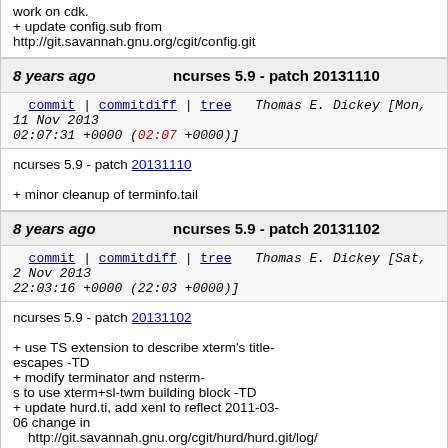work on cdk.
+ update config.sub from http://git.savannah.gnu.org/cgit/config.git
8 years ago   ncurses 5.9 - patch 20131110
commit | commitdiff | tree   Thomas E. Dickey [Mon, 11 Nov 2013 02:07:31 +0000 (02:07 +0000)]
ncurses 5.9 - patch 20131110

+ minor cleanup of terminfo.tail
8 years ago   ncurses 5.9 - patch 20131102
commit | commitdiff | tree   Thomas E. Dickey [Sat, 2 Nov 2013 22:03:16 +0000 (22:03 +0000)]
ncurses 5.9 - patch 20131102

+ use TS extension to describe xterm's title-escapes -TD
+ modify terminator and nsterm-s to use xterm+sl-twm building block -TD
+ update hurd.ti, add xenl to reflect 2011-03-06 change in http://git.savannah.gnu.org/cgit/hurd/hurd.git/log/ (Debian #727119).
+ simplify pfkey expression in ansi.sys -TD